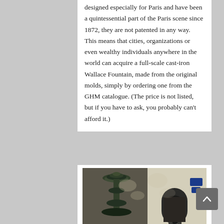designed especially for Paris and have been a quintessential part of the Paris scene since 1872, they are not patented in any way. This means that cities, organizations or even wealthy individuals anywhere in the world can acquire a full-scale cast-iron Wallace Fountain, made from the original molds, simply by ordering one from the GHM catalogue. (The price is not listed, but if you have to ask, you probably can't afford it.)
[Figure (photo): Photograph of a Wallace Fountain in Paris, showing the ornate cast-iron green fountain structure in front of a building with an arched doorway]